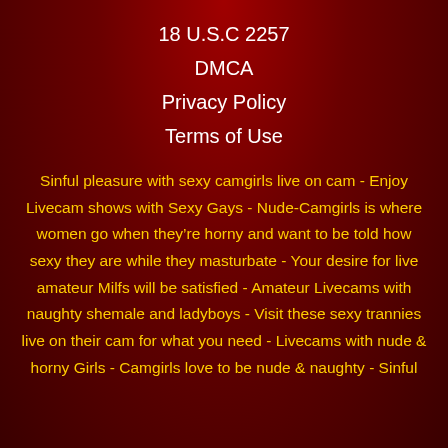18 U.S.C 2257
DMCA
Privacy Policy
Terms of Use
Sinful pleasure with sexy camgirls live on cam - Enjoy Livecam shows with Sexy Gays - Nude-Camgirls is where women go when they’re horny and want to be told how sexy they are while they masturbate - Your desire for live amateur Milfs will be satisfied - Amateur Livecams with naughty shemale and ladyboys - Visit these sexy trannies live on their cam for what you need - Livecams with nude & horny Girls - Camgirls love to be nude & naughty - Sinful